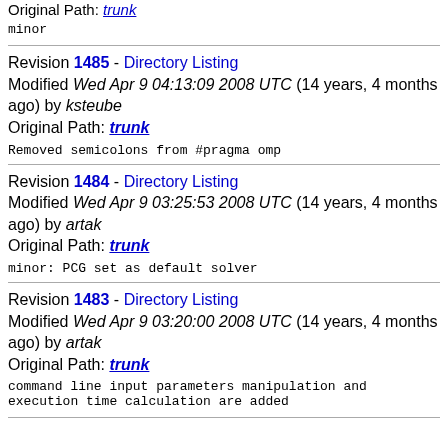Original Path: trunk
minor
Revision 1485 - Directory Listing Modified Wed Apr 9 04:13:09 2008 UTC (14 years, 4 months ago) by ksteube Original Path: trunk
Removed semicolons from #pragma omp
Revision 1484 - Directory Listing Modified Wed Apr 9 03:25:53 2008 UTC (14 years, 4 months ago) by artak Original Path: trunk
minor: PCG set as default solver
Revision 1483 - Directory Listing Modified Wed Apr 9 03:20:00 2008 UTC (14 years, 4 months ago) by artak Original Path: trunk
command line input parameters manipulation and execution time calculation are added